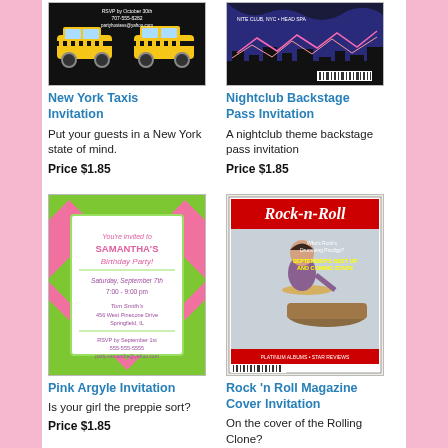[Figure (illustration): New York Taxis invitation card showing yellow taxi cabs on black background]
New York Taxis Invitation
Put your guests in a New York state of mind.
Price $1.85
[Figure (illustration): Nightclub backstage pass invitation with dark blue/purple background and lights]
Nightclub Backstage Pass Invitation
A nightclub theme backstage pass invitation
Price $1.85
[Figure (illustration): Pink Argyle Invitation with pink and green argyle pattern and party details]
Pink Argyle Invitation
Is your girl the preppie sort?
Price $1.85
[Figure (illustration): Rock n Roll Magazine Cover Invitation showing a boy playing drums with Rock-n-Roll masthead]
Rock 'n Roll Magazine Cover Invitation
On the cover of the Rolling Clone?
Price $1.85